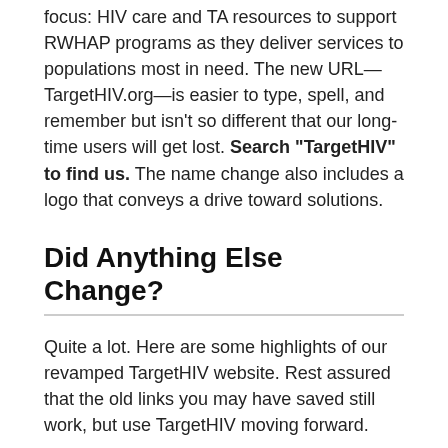focus: HIV care and TA resources to support RWHAP programs as they deliver services to populations most in need. The new URL—TargetHIV.org—is easier to type, spell, and remember but isn't so different that our long-time users will get lost. Search "TargetHIV" to find us. The name change also includes a logo that conveys a drive toward solutions.
Did Anything Else Change?
Quite a lot. Here are some highlights of our revamped TargetHIV website. Rest assured that the old links you may have saved still work, but use TargetHIV moving forward.
The Design
Our goal was to simplify the site's look and feel to allow